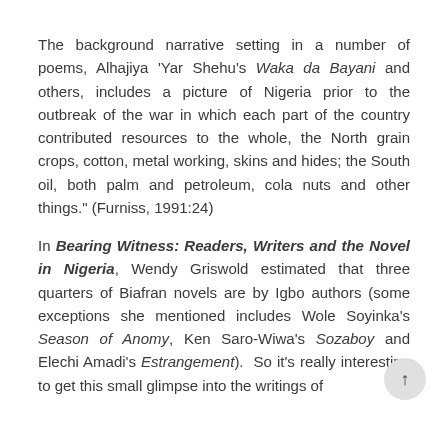The background narrative setting in a number of poems, Alhajiya 'Yar Shehu's Waka da Bayani and others, includes a picture of Nigeria prior to the outbreak of the war in which each part of the country contributed resources to the whole, the North grain crops, cotton, metal working, skins and hides; the South oil, both palm and petroleum, cola nuts and other things." (Furniss, 1991:24) In Bearing Witness: Readers, Writers and the Novel in Nigeria, Wendy Griswold estimated that three quarters of Biafran novels are by Igbo authors (some exceptions she mentioned includes Wole Soyinka's Season of Anomy, Ken Saro-Wiwa's Sozaboy and Elechi Amadi's Estrangement). So it's really interesting to get this small glimpse into the writings of